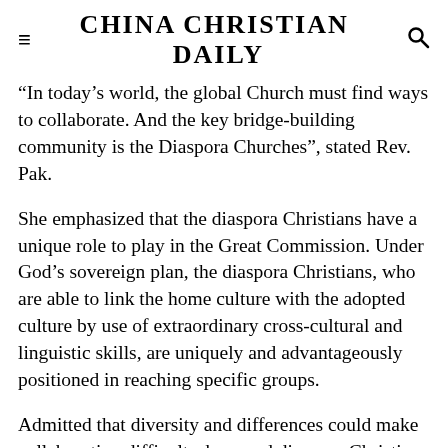CHINA CHRISTIAN DAILY
“In today’s world, the global Church must find ways to collaborate. And the key bridge-building community is the Diaspora Churches”, stated Rev. Pak.
She emphasized that the diaspora Christians have a unique role to play in the Great Commission. Under God’s sovereign plan, the diaspora Christians, who are able to link the home culture with the adopted culture by use of extraordinary cross-cultural and linguistic skills, are uniquely and advantageously positioned in reaching specific groups.
Admitted that diversity and differences could make collaboration difficult, she urged diaspora Christians to “consider everything that’s given to them as an advantage”.